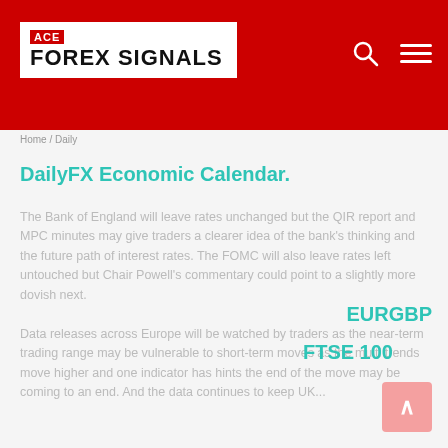[Figure (logo): ACE Forex Signals logo on red header background with search and menu icons]
Home / Daily
DailyFX Economic Calendar.
The Bank of England will leave rates unchanged but the QIR report and MPC minutes may give traders a clearer idea of the bank's thinking and the future path of interest rates. The FOMC will also leave rates left untouched but Chair Powell's commentary could point to a slightly more dovish next.
Data releases across Europe will be watched by traders as the near-term trading range may be vulnerable to short-term moves as the multi trends move higher and one indicator has hints the end of the move may be coming to an end. And the data continues to keep UK...
EURGBP
FTSE 100